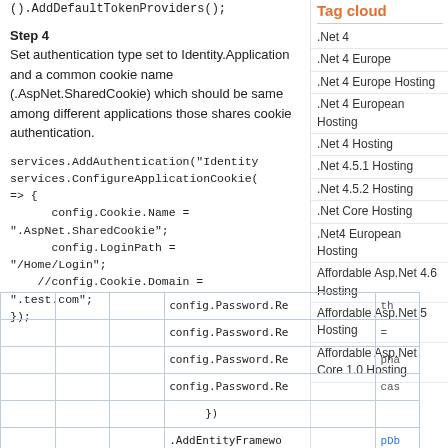().AddDefaultTokenProviders();
Tag cloud
.Net 4
.Net 4 Europe
.Net 4 Europe Hosting
.Net 4 European Hosting
.Net 4 Hosting
.Net 4.5.1 Hosting
.Net 4.5.2 Hosting
.Net Core Hosting
.Net4 European Hosting
Affordable Asp.Net 4.6 Hosting
Affordable Asp.Net 5 Hosting
Affordable Asp.Net Core 1.0 Hosting
Step 4
Set authentication type set to Identity.Application and a common cookie name (.AspNet.SharedCookie) which should be same among different applications those shares cookie authentication.
services.AddAuthentication("Identity");
services.ConfigureApplicationCookie(
=> {
    config.Cookie.Name =
".AspNet.SharedCookie";
    config.LoginPath =
"/Home/Login";
    //config.Cookie.Domain =
".test.com";
});
|  |  |  | config.Password.Ri | th |
|  |  |  | config.Password.Ri | = |
|  |  |  | config.Password.Ri | pha |
|  |  |  | config.Password.Ri | cas |
|  |  |  | }); |  |
|  |  |  | .AddEntityFramewo | pDb |
|  |  |  | .AddDefaultTokenP |  |